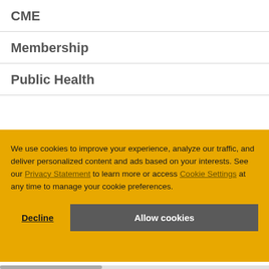CME
Membership
Public Health
We use cookies to improve your experience, analyze our traffic, and deliver personalized content and ads based on your interests. See our Privacy Statement to learn more or access Cookie Settings at any time to manage your cookie preferences.
Decline
Allow cookies